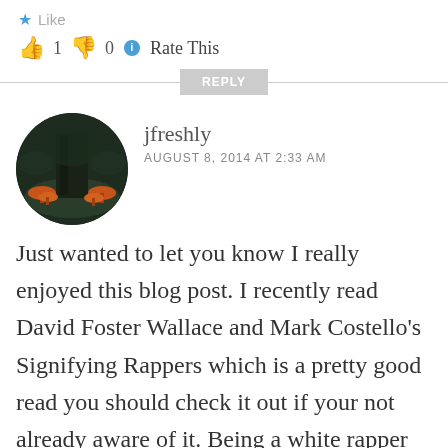Like
👍 1  👎 0  ℹ Rate This
REPLY
[Figure (photo): Circular avatar image of user jfreshly showing a dark forest scene with orange mushrooms]
jfreshly
AUGUST 8, 2014 AT 2:33 AM
Just wanted to let you know I really enjoyed this blog post. I recently read David Foster Wallace and Mark Costello's Signifying Rappers which is a pretty good read you should check it out if your not already aware of it. Being a white rapper myself I never really think of things in the